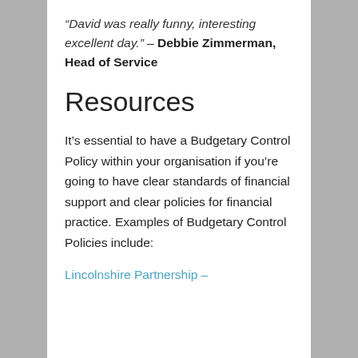“David was really funny, interesting excellent day.” – Debbie Zimmerman, Head of Service
Resources
It’s essential to have a Budgetary Control Policy within your organisation if you’re going to have clear standards of financial support and clear policies for financial practice. Examples of Budgetary Control Policies include:
Lincolnshire Partnership –